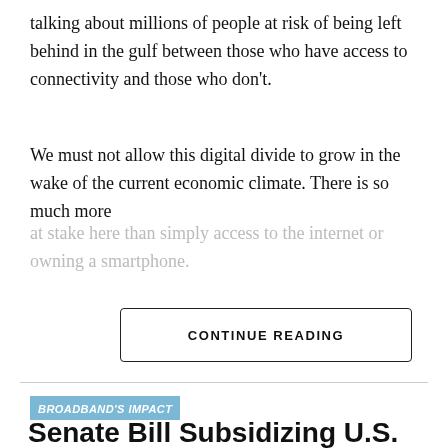talking about millions of people at risk of being left behind in the gulf between those who have access to connectivity and those who don't.
We must not allow this digital divide to grow in the wake of the current economic climate. There is so much more at stake here than simply access to the internet or owning a smartphone.
CONTINUE READING
BROADBAND'S IMPACT
Senate Bill Subsidizing U.S. Semiconductor Production Clears House, Going to White House